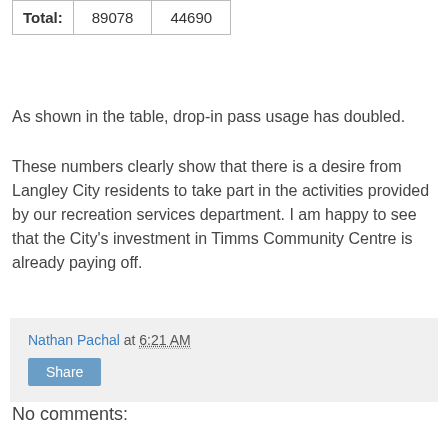| Total: | 89078 | 44690 |
As shown in the table, drop-in pass usage has doubled.
These numbers clearly show that there is a desire from Langley City residents to take part in the activities provided by our recreation services department. I am happy to see that the City's investment in Timms Community Centre is already paying off.
Nathan Pachal at 6:21 AM
Share
No comments:
Post a Comment
All comments are moderated.